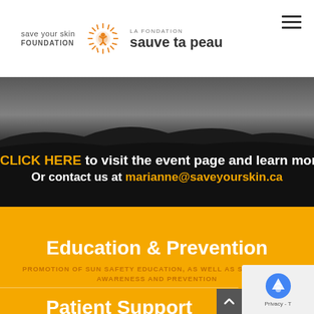[Figure (logo): Save Your Skin Foundation / La Fondation Sauve Ta Peau logo with sun icon]
[Figure (screenshot): Dark banner with horizon landscape image in background]
CLICK HERE to visit the event page and learn more
Or contact us at marianne@saveyourskin.ca
Education & Prevention
PROMOTION OF SUN SAFETY EDUCATION, AS WELL AS SKIN CANCER AWARENESS AND PREVENTION
Patient Support
[Figure (other): reCAPTCHA privacy badge and scroll-up button]